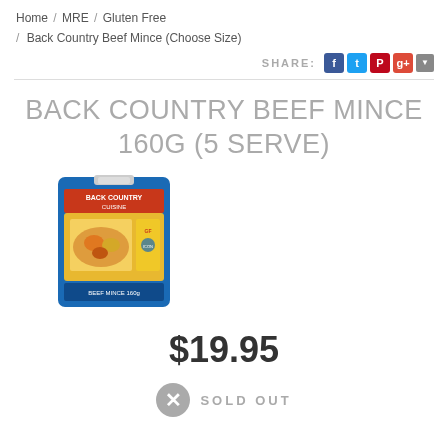Home / MRE / Gluten Free / Back Country Beef Mince (Choose Size)
SHARE:
BACK COUNTRY BEEF MINCE 160G (5 SERVE)
[Figure (photo): Product photo of Back Country Beef Mince freeze-dried food pouch with blue and yellow packaging]
$19.95
SOLD OUT